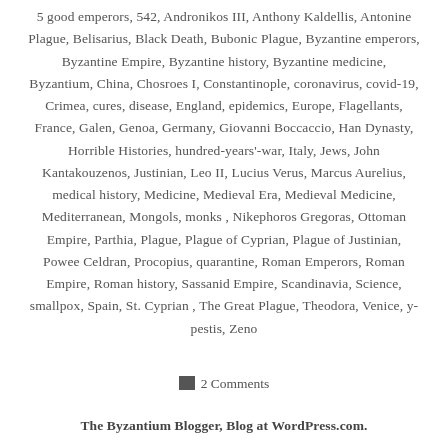5 good emperors, 542, Andronikos III, Anthony Kaldellis, Antonine Plague, Belisarius, Black Death, Bubonic Plague, Byzantine emperors, Byzantine Empire, Byzantine history, Byzantine medicine, Byzantium, China, Chosroes I, Constantinople, coronavirus, covid-19, Crimea, cures, disease, England, epidemics, Europe, Flagellants, France, Galen, Genoa, Germany, Giovanni Boccaccio, Han Dynasty, Horrible Histories, hundred-years'-war, Italy, Jews, John Kantakouzenos, Justinian, Leo II, Lucius Verus, Marcus Aurelius, medical history, Medicine, Medieval Era, Medieval Medicine, Mediterranean, Mongols, monks, Nikephoros Gregoras, Ottoman Empire, Parthia, Plague, Plague of Cyprian, Plague of Justinian, Powee Celdran, Procopius, quarantine, Roman Emperors, Roman Empire, Roman history, Sassanid Empire, Scandinavia, Science, smallpox, Spain, St. Cyprian, The Great Plague, Theodora, Venice, y-pestis, Zeno
2 Comments
The Byzantium Blogger, Blog at WordPress.com.